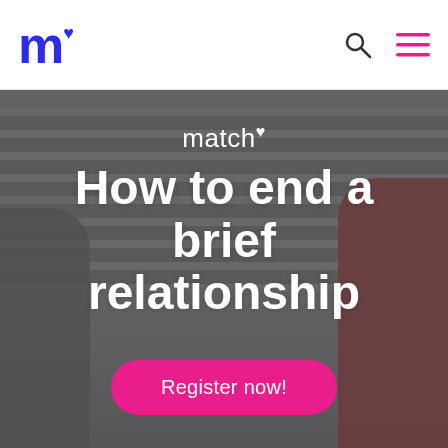[Figure (logo): Match.com logo: blue lowercase 'm' with blue heart superscript]
[Figure (illustration): Navigation icons: search (magnifying glass) and hamburger menu in dark color]
[Figure (photo): Hero background photo showing two people sitting apart on concrete stairs, one on left and one on right wearing red, with overlay text]
match♥
How to end a brief relationship
Register now!